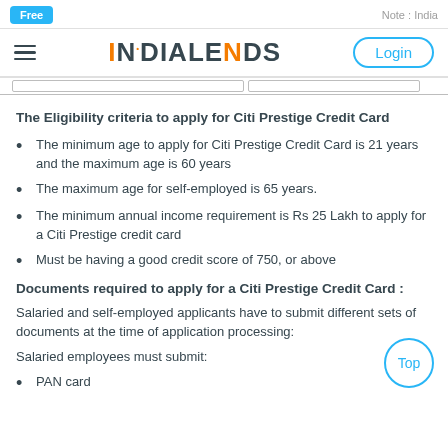Free   Note : India
[Figure (logo): IndiaLends logo with hamburger menu and Login button]
The Eligibility criteria to apply for Citi Prestige Credit Card
The minimum age to apply for Citi Prestige Credit Card is 21 years and the maximum age is 60 years
The maximum age for self-employed is 65 years.
The minimum annual income requirement is Rs 25 Lakh to apply for a Citi Prestige credit card
Must be having a good credit score of 750, or above
Documents required to apply for a Citi Prestige Credit Card :
Salaried and self-employed applicants have to submit different sets of documents at the time of application processing:
Salaried employees must submit:
PAN card